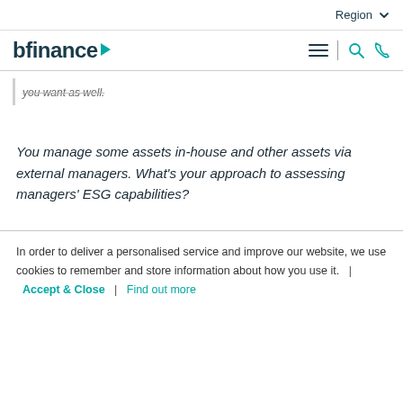Region
[Figure (logo): bfinance logo with teal play button arrow]
you want as well.
You manage some assets in-house and other assets via external managers. What's your approach to assessing managers' ESG capabilities?
In order to deliver a personalised service and improve our website, we use cookies to remember and store information about how you use it.   |   Accept & Close   |   Find out more